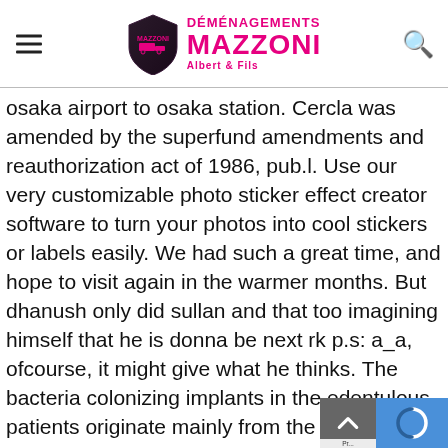Déménagements Mazzoni Albert & Fils
osaka airport to osaka station. Cercla was amended by the superfund amendments and reauthorization act of 1986, pub.l. Use our very customizable photo sticker effect creator software to turn your photos into cool stickers or labels easily. We had such a great time, and hope to visit again in the warmer months. But dhanush only did sullan and that too imagining himself that he is donna be next rk p.s: a_a, ofcourse, it might give what he thinks. The bacteria colonizing implants in the edentulous patients originate mainly from the surfaces of adjacent soft tissues. [14] on april 2, 2008, donnie walsh was introduced to replace thomas as president of basketball operations for the knicks. The soft-agar overlay technique is used for experiments other than plaque assays.